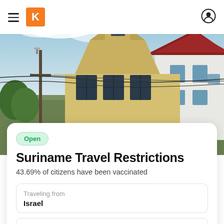K (Kayak logo navigation bar)
[Figure (photo): Exterior photo of a yellow wooden house with gambrel roof and dark windows, alongside a white building with red roof, under a partly cloudy blue sky. Power lines cross in front. Suriname architecture.]
Open
Suriname Travel Restrictions
43.69% of citizens have been vaccinated
| Traveling from | Israel |
| Traveler's COVID-19 vaccination status |  |